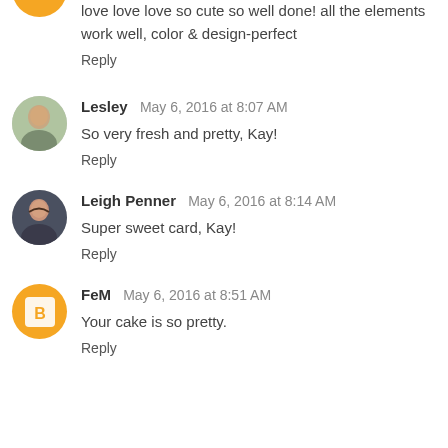love love love so cute so well done! all the elements work well, color & design-perfect
Reply
Lesley   May 6, 2016 at 8:07 AM
So very fresh and pretty, Kay!
Reply
Leigh Penner   May 6, 2016 at 8:14 AM
Super sweet card, Kay!
Reply
FeM   May 6, 2016 at 8:51 AM
Your cake is so pretty.
Reply